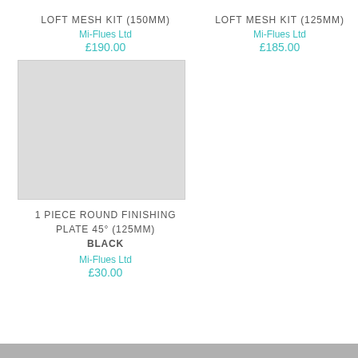LOFT MESH KIT (150MM)
Mi-Flues Ltd
£190.00
LOFT MESH KIT (125MM)
Mi-Flues Ltd
£185.00
[Figure (photo): Gray placeholder image for 1 PIECE ROUND FINISHING PLATE 45° (125MM) BLACK product]
1 PIECE ROUND FINISHING PLATE 45° (125MM) BLACK
Mi-Flues Ltd
£30.00